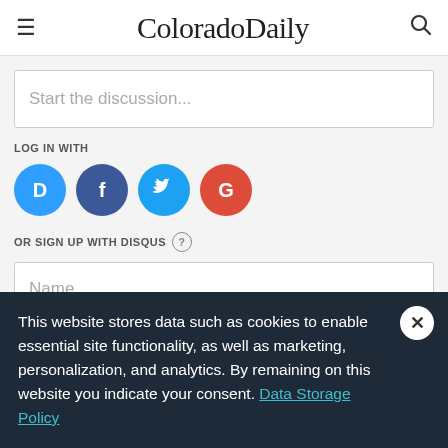ColoradoDaily
Start the discussion...
LOG IN WITH
[Figure (illustration): Four social login icons in circles: Disqus (blue D), Facebook (dark blue f), Twitter (light blue bird), Google (red G)]
OR SIGN UP WITH DISQUS ?
Name
This website stores data such as cookies to enable essential site functionality, as well as marketing, personalization, and analytics. By remaining on this website you indicate your consent. Data Storage Policy